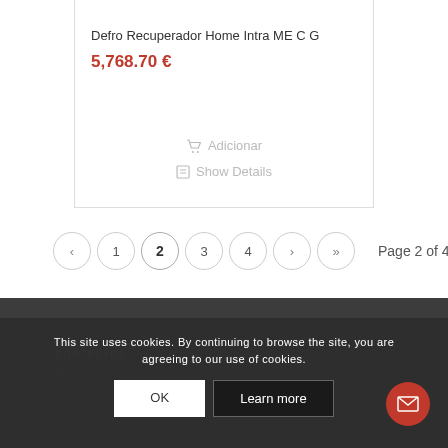Defro Recuperador Home Intra ME C G
5,768.70 €
Adicionar
Show Details
« 1 2 3 4 › » Page 2 of 40
This site uses cookies. By continuing to browse the site, you are agreeing to our use of cookies.
OK
Learn more
CONTACTOS
Entre em contacto connosco ou visite-nos